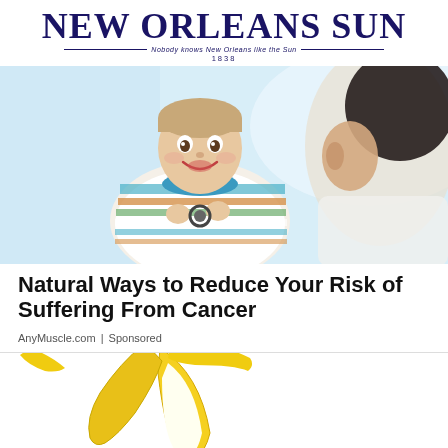NEW ORLEANS SUN — Nobody knows New Orleans like the Sun — 1838
[Figure (photo): Smiling young boy in striped shirt being examined by a doctor with a stethoscope]
Natural Ways to Reduce Your Risk of Suffering From Cancer
AnyMuscle.com | Sponsored
[Figure (photo): Close-up of a banana being peeled against a white background]